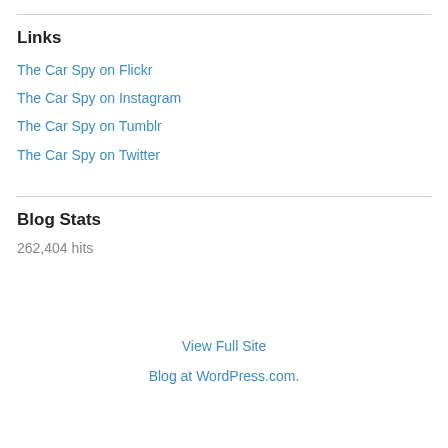Links
The Car Spy on Flickr
The Car Spy on Instagram
The Car Spy on Tumblr
The Car Spy on Twitter
Blog Stats
262,404 hits
View Full Site
Blog at WordPress.com.